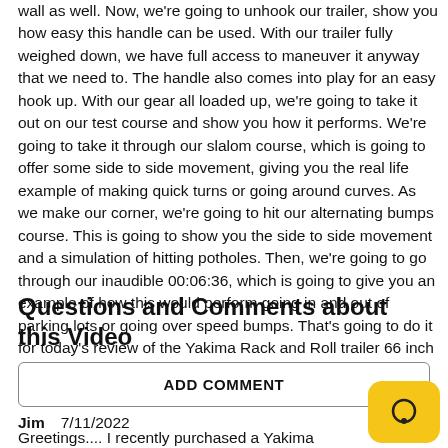wall as well. Now, we're going to unhook our trailer, show you how easy this handle can be used. With our trailer fully weighed down, we have full access to maneuver it anyway that we need to. The handle also comes into play for an easy hook up. With our gear all loaded up, we're going to take it out on our test course and show you how it performs. We're going to take it through our slalom course, which is going to offer some side to side movement, giving you the real life example of making quick turns or going around curves. As we make our corner, we're going to hit our alternating bumps course. This is going to show you the side to side movement and a simulation of hitting potholes. Then, we're going to go through our inaudible 00:06:36, which is going to give you an example of how this would perform going in and out of parking lots or going over speed bumps. That's going to do it for today's review of the Yakima Rack and Roll trailer 66 inch bars, part number Y08106. .
Questions and Comments about this Video
ADD COMMENT
Jim   7/11/2022
Greetings.... I recently purchased a Yakima 78" Rack &